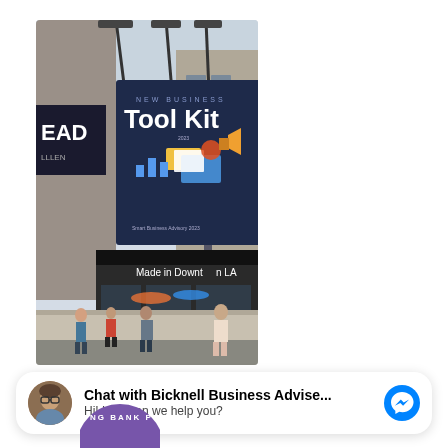[Figure (photo): Street scene photo showing a city sidewalk with pedestrians. A large billboard displays 'New Business Tool Kit' with graphics against a dark blue background. Street lamps visible above. Storefronts including one with sign 'Made in Downtown LA'. Busy urban street scene.]
Chat with Bicknell Business Advise...
Hi! How can we help you?